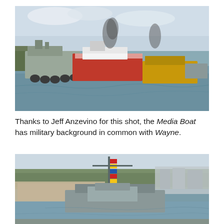[Figure (photo): Photo of a military-style vessel alongside tugboats and barges on a harbor, with smoke rising from the vessels and a tree-lined shore in the background.]
Thanks to Jeff Anzevino for this shot, the Media Boat has military background in common with Wayne.
[Figure (photo): Photo of a military-style boat docked at a harbor with a mast bearing signal flags, city buildings and wooded hillside visible in the background.]